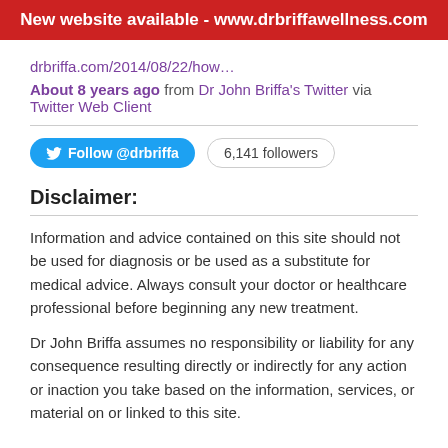New website available - www.drbriffawellness.com
drbriffa.com/2014/08/22/how…
About 8 years ago from Dr John Briffa's Twitter via Twitter Web Client
[Figure (other): Twitter Follow @drbriffa button with 6,141 followers badge]
Disclaimer:
Information and advice contained on this site should not be used for diagnosis or be used as a substitute for medical advice. Always consult your doctor or healthcare professional before beginning any new treatment.
Dr John Briffa assumes no responsibility or liability for any consequence resulting directly or indirectly for any action or inaction you take based on the information, services, or material on or linked to this site.